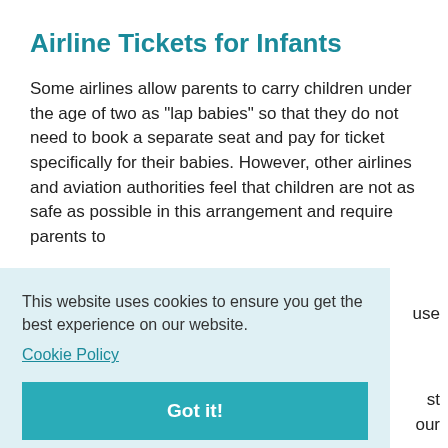Airline Tickets for Infants
Some airlines allow parents to carry children under the age of two as "lap babies" so that they do not need to book a separate seat and pay for ticket specifically for their babies. However, other airlines and aviation authorities feel that children are not as safe as possible in this arrangement and require parents to [partially obscured] use [partially obscured] st [partially obscured] our [partially obscured] you
This website uses cookies to ensure you get the best experience on our website.
Cookie Policy
Got it!
[partially visible bottom text] about reserving bassinets or other baby equipment